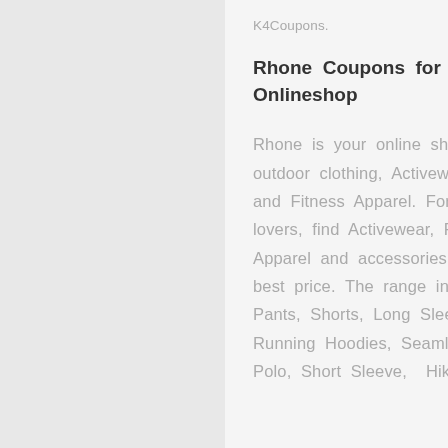K4Coupons.
Rhone Coupons for the Onlineshop
Rhone is your online shop for outdoor clothing, Activewear and Fitness Apparel. For bargain lovers, find Activewear, Fitness Apparel and accessories at the best price. The range includes Pants, Shorts, Long Sleeve, Running Hoodies, Seamless Polo, Short Sleeve, Hiking